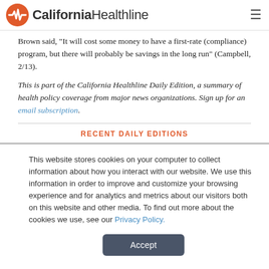California Healthline
Brown said, "It will cost some money to have a first-rate (compliance) program, but there will probably be savings in the long run" (Campbell, 2/13).
This is part of the California Healthline Daily Edition, a summary of health policy coverage from major news organizations. Sign up for an email subscription.
RECENT DAILY EDITIONS
This website stores cookies on your computer to collect information about how you interact with our website. We use this information in order to improve and customize your browsing experience and for analytics and metrics about our visitors both on this website and other media. To find out more about the cookies we use, see our Privacy Policy.